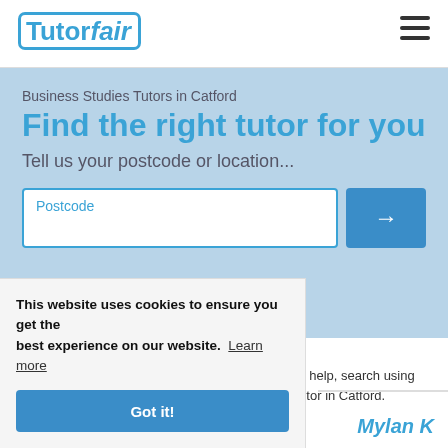Tutorfair
Business Studies Tutors in Catford
Find the right tutor for you
Tell us your postcode or location...
Our Business Studies tutors in Catford are here to help, search using your postcode to find the best Business Studies tutor in Catford.
This website uses cookies to ensure you get the best experience on our website. Learn more
Got it!
Mylan K